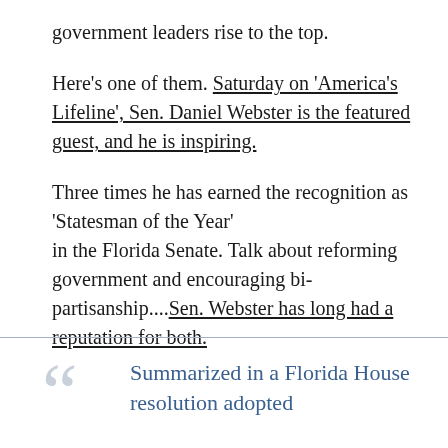government leaders rise to the top.
Here's one of them. Saturday on 'America's Lifeline', Sen. Daniel Webster is the featured guest, and he is inspiring.
Three times he has earned the recognition as 'Statesman of the Year' in the Florida Senate. Talk about reforming government and encouraging bi-partisanship....Sen. Webster has long had a reputation for both.
Summarized in a Florida House resolution adopted